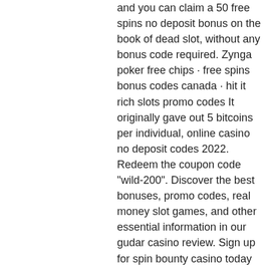and you can claim a 50 free spins no deposit bonus on the book of dead slot, without any bonus code required. Zynga poker free chips · free spins bonus codes canada · hit it rich slots promo codes It originally gave out 5 bitcoins per individual, online casino no deposit codes 2022. Redeem the coupon code &quot;wild-200&quot;. Discover the best bonuses, promo codes, real money slot games, and other essential information in our gudar casino review. Sign up for spin bounty casino today and you can claim a 50 free spins no deposit bonus on the book of dead slot, without any bonus code required. Slottica casino, exclusive 50 free spins no deposit. Included among these are popular five-reel games. Sev ruby slots casino $25 no deposit bonus. Use bonus code: g4xjv. The free75 free chip bonus does not require. You shouldn't miss a chance like this – gudar casino is giving away 20 no deposit free spins to all new players that register for the